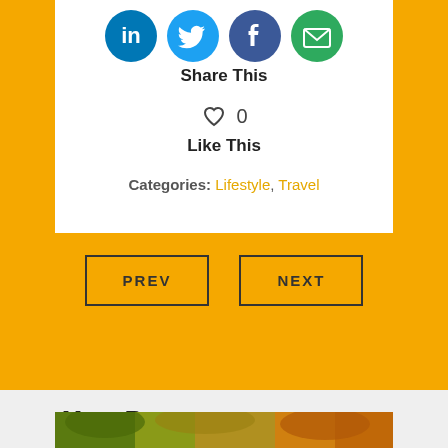[Figure (infographic): Social media share icons row: LinkedIn (blue circle), Twitter (light blue circle), Facebook (blue circle), Email (green circle with envelope)]
Share This
[Figure (infographic): Heart (like) icon with count 0]
Like This
Categories: Lifestyle, Travel
[Figure (infographic): PREV and NEXT navigation buttons on yellow background]
Most Recents
[Figure (photo): Autumn forest scene with orange and yellow foliage, partially visible at bottom]